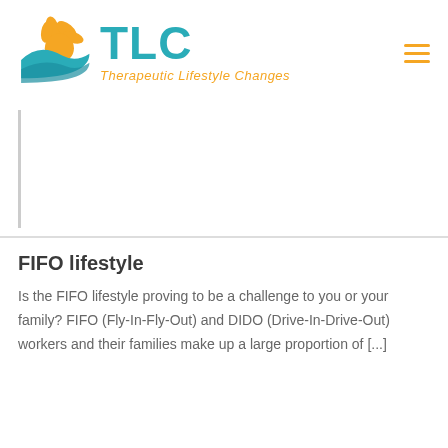[Figure (logo): TLC Therapeutic Lifestyle Changes logo with sun/water graphic and hamburger menu icon]
FIFO lifestyle
Is the FIFO lifestyle proving to be a challenge to you or your family? FIFO (Fly-In-Fly-Out) and DIDO (Drive-In-Drive-Out) workers and their families make up a large proportion of [...]